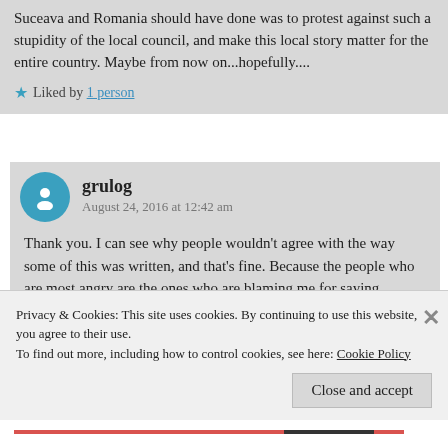Suceava and Romania should have done was to protest against such a stupidity of the local council, and make this local story matter for the entire country. Maybe from now on...hopefully....
Liked by 1 person
grulog
August 24, 2016 at 12:42 am
Thank you. I can see why people wouldn't agree with the way some of this was written, and that's fine. Because the people who are most angry are the ones who are blaming me for saying something – not the local city government for
Privacy & Cookies: This site uses cookies. By continuing to use this website, you agree to their use.
To find out more, including how to control cookies, see here: Cookie Policy
Close and accept